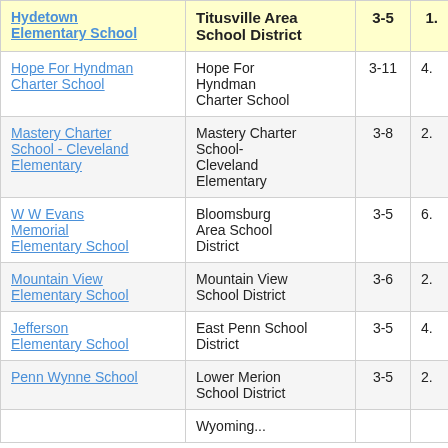| School | District | Grades | Value |
| --- | --- | --- | --- |
| Hydetown Elementary School | Titusville Area School District | 3-5 | 1. |
| Hope For Hyndman Charter School | Hope For Hyndman Charter School | 3-11 | 4. |
| Mastery Charter School - Cleveland Elementary | Mastery Charter School-Cleveland Elementary | 3-8 | 2. |
| W W Evans Memorial Elementary School | Bloomsburg Area School District | 3-5 | 6. |
| Mountain View Elementary School | Mountain View School District | 3-6 | 2. |
| Jefferson Elementary School | East Penn School District | 3-5 | 4. |
| Penn Wynne School | Lower Merion School District | 3-5 | 2. |
| (partial) | Wyoming... |  |  |